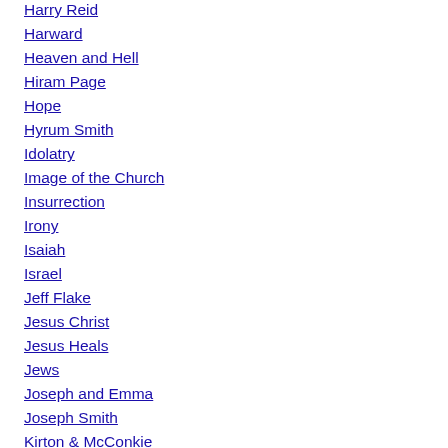Harry Reid
Harward
Heaven and Hell
Hiram Page
Hope
Hyrum Smith
Idolatry
Image of the Church
Insurrection
Irony
Isaiah
Israel
Jeff Flake
Jesus Christ
Jesus Heals
Jews
Joseph and Emma
Joseph Smith
Kirton & McConkie